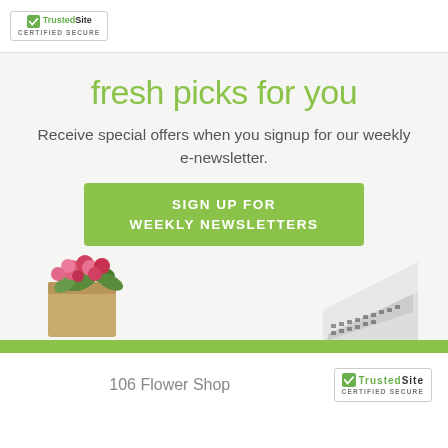[Figure (logo): TrustedSite Certified Secure badge in top-left corner]
fresh picks for you
Receive special offers when you signup for our weekly e-newsletter.
SIGN UP FOR WEEKLY NEWSLETTERS
[Figure (photo): Bouquet of pink and red flowers in kraft paper wrapping on left side]
[Figure (photo): Laptop keyboard partially visible on right side]
106 Flower Shop
[Figure (logo): TrustedSite Certified Secure badge in bottom-right corner]